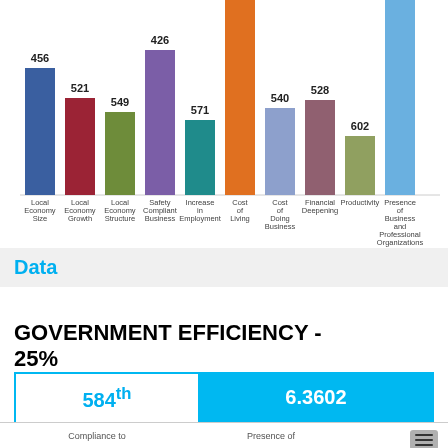[Figure (bar-chart): Local Economy indicators bar chart]
Data
GOVERNMENT EFFICIENCY - 25%
| Rank | Score |
| --- | --- |
| 584th | 6.3602 |
Compliance to | Presence of